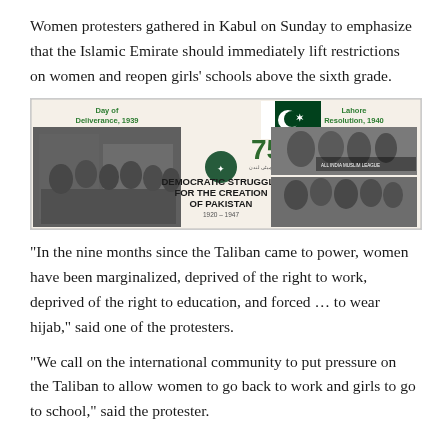Women protesters gathered in Kabul on Sunday to emphasize that the Islamic Emirate should immediately lift restrictions on women and reopen girls' schools above the sixth grade.
[Figure (infographic): Infographic about the Democratic Struggle for the Creation of Pakistan, 1920-1947. Features green Pakistani flag, logo, '75' milestone, text 'DEMOCRATIC STRUGGLE FOR THE CREATION OF PAKISTAN 1920-1947', two historical black-and-white photos labeled 'Day of Deliverance, 1939' and 'Lahore Resolution, 1940'.]
“In the nine months since the Taliban came to power, women have been marginalized, deprived of the right to work, deprived of the right to education, and forced … to wear hijab,” said one of the protesters.
“We call on the international community to put pressure on the Taliban to allow women to go back to work and girls to go to school,” said the protester.